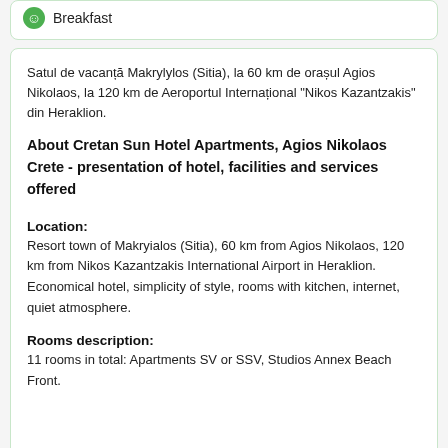Breakfast
Satul de vacanță Makrylylos (Sitia), la 60 km de orașul Agios Nikolaos, la 120 km de Aeroportul Internațional "Nikos Kazantzakis" din Heraklion.
About Cretan Sun Hotel Apartments, Agios Nikolaos Crete - presentation of hotel, facilities and services offered
Location:
Resort town of Makryialos (Sitia), 60 km from Agios Nikolaos, 120 km from Nikos Kazantzakis International Airport in Heraklion. Economical hotel, simplicity of style, rooms with kitchen, internet, quiet atmosphere.
Rooms description:
11 rooms in total: Apartments SV or SSV, Studios Annex Beach Front.